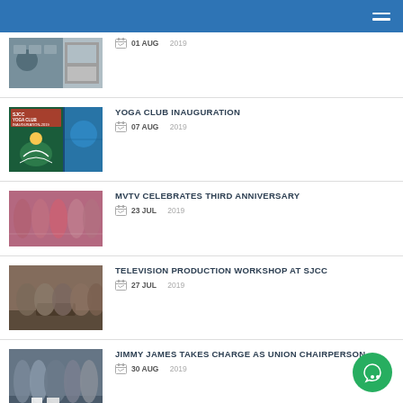Navigation header with hamburger menu
01 AUG 2019
YOGA CLUB INAUGURATION — 07 AUG 2019
MVTV CELEBRATES THIRD ANNIVERSARY — 23 JUL 2019
TELEVISION PRODUCTION WORKSHOP AT SJCC — 27 JUL 2019
JIMMY JAMES TAKES CHARGE AS UNION CHAIRPERSON — 30 AUG 2019